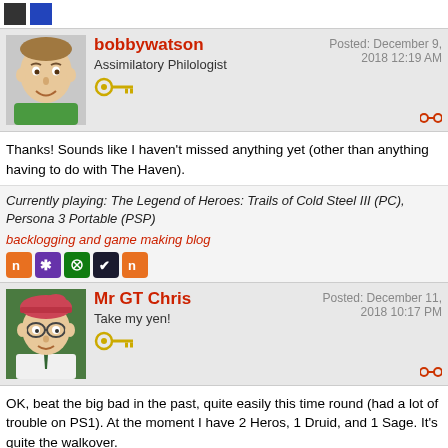[Figure (screenshot): Top navigation bar with two small icon buttons (dark square and blue square)]
[Figure (illustration): Avatar of bobbywatson - cartoon illustration of man in green shirt]
bobbywatson
Assimilatory Philologist
Posted: December 9, 2018 12:19 AM
Thanks! Sounds like I haven't missed anything yet (other than anything having to do with The Haven).
Currently playing: The Legend of Heroes: Trails of Cold Steel III (PC), Persona 3 Portable (PSP)
backlogging and game making blog
[Figure (illustration): Avatar of Mr GT Chris - cartoon illustration of person with red/pink beret and glasses]
Mr GT Chris
Take my yen!
Posted: December 11, 2018 10:17 PM
OK, beat the big bad in the past, quite easily this time round (had a lot of trouble on PS1). At the moment I have 2 Heros, 1 Druid, and 1 Sage. It's quite the walkover.